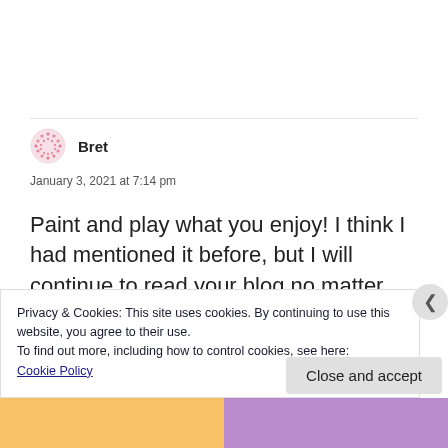Bret
January 3, 2021 at 7:14 pm
Paint and play what you enjoy! I think I had mentioned it before, but I will continue to read your blog no matter the subject, I enjoy your writing style and looking at your excellent paint
Privacy & Cookies: This site uses cookies. By continuing to use this website, you agree to their use.
To find out more, including how to control cookies, see here:
Cookie Policy
Close and accept